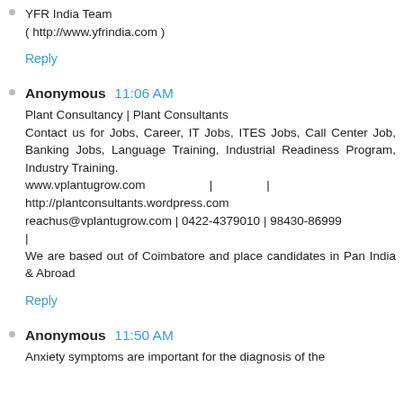YFR India Team
( http://www.yfrindia.com )
Reply
Anonymous  11:06 AM
Plant Consultancy | Plant Consultants
Contact us for Jobs, Career, IT Jobs, ITES Jobs, Call Center Job, Banking Jobs, Language Training, Industrial Readiness Program, Industry Training.
www.vplantugrow.com  |  |
http://plantconsultants.wordpress.com
reachus@vplantugrow.com | 0422-4379010 | 98430-86999
|
We are based out of Coimbatore and place candidates in Pan India & Abroad
Reply
Anonymous  11:50 AM
Anxiety symptoms are important for the diagnosis of the